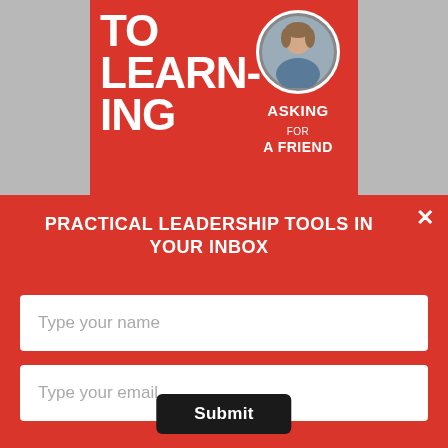[Figure (illustration): Book cover / podcast thumbnail on red background showing large white bold text partially visible: 'TO LEARNING' and 'ASKING FOR A FRIEND' with a circular photo of a smiling woman]
PRACTICAL LEADERSHIP TOOLS IN YOUR INBOX
Type your name
Type your email
Submit